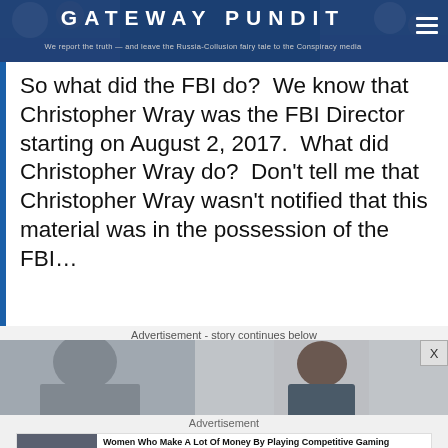GATEWAY PUNDIT — We report the truth — and leave the Russia-Collusion fairy tale to the Conspiracy media
So what did the FBI do?  We know that Christopher Wray was the FBI Director starting on August 2, 2017.  What did Christopher Wray do?  Don't tell me that Christopher Wray wasn't notified that this material was in the possession of the FBI…
Advertisement - story continues below
[Figure (photo): Advertisement banner with a person visible on the right side, with an X close button]
Advertisement
[Figure (photo): Ad card showing a woman at a gaming computer with text: Women Who Make A Lot Of Money By Playing Competitive Gaming — Brainberries]